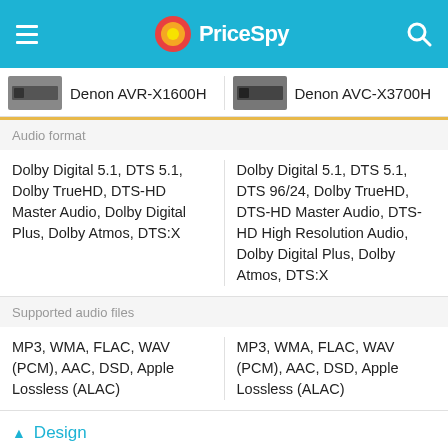PriceSpy
Denon AVR-X1600H
Denon AVC-X3700H
Audio format
Dolby Digital 5.1, DTS 5.1, Dolby TrueHD, DTS-HD Master Audio, Dolby Digital Plus, Dolby Atmos, DTS:X
Dolby Digital 5.1, DTS 5.1, DTS 96/24, Dolby TrueHD, DTS-HD Master Audio, DTS-HD High Resolution Audio, Dolby Digital Plus, Dolby Atmos, DTS:X
Supported audio files
MP3, WMA, FLAC, WAV (PCM), AAC, DSD, Apple Lossless (ALAC)
MP3, WMA, FLAC, WAV (PCM), AAC, DSD, Apple Lossless (ALAC)
Design